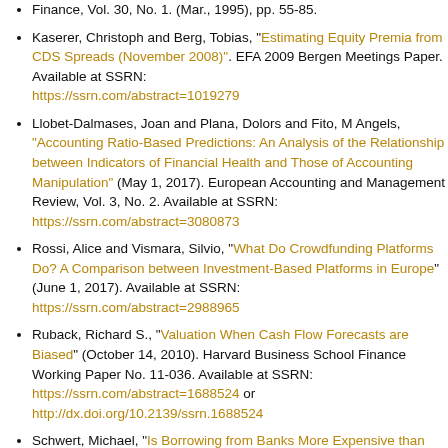Finance, Vol. 30, No. 1. (Mar., 1995), pp. 55-85.
Kaserer, Christoph and Berg, Tobias, "Estimating Equity Premia from CDS Spreads (November 2008)". EFA 2009 Bergen Meetings Paper. Available at SSRN: https://ssrn.com/abstract=1019279
Llobet-Dalmases, Joan and Plana, Dolors and Fito, M Angels, "Accounting Ratio-Based Predictions: An Analysis of the Relationship between Indicators of Financial Health and Those of Accounting Manipulation" (May 1, 2017). European Accounting and Management Review, Vol. 3, No. 2. Available at SSRN: https://ssrn.com/abstract=3080873
Rossi, Alice and Vismara, Silvio, "What Do Crowdfunding Platforms Do? A Comparison between Investment-Based Platforms in Europe" (June 1, 2017). Available at SSRN: https://ssrn.com/abstract=2988965
Ruback, Richard S., "Valuation When Cash Flow Forecasts are Biased" (October 14, 2010). Harvard Business School Finance Working Paper No. 11-036. Available at SSRN: https://ssrn.com/abstract=1688524 or http://dx.doi.org/10.2139/ssrn.1688524
Schwert, Michael, "Is Borrowing from Banks More Expensive than Borrowing from the Market?" (October 25, 2017). Fisher College of Business Working Paper No. 2017-03-23. Available at